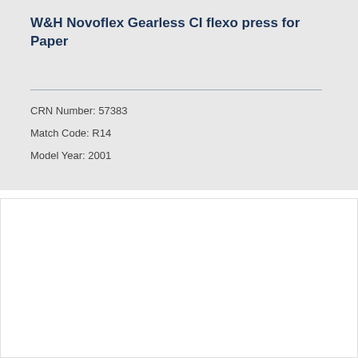W&H Novoflex Gearless CI flexo press for Paper
CRN Number: 57383
Match Code: R14
Model Year: 2001
[Figure (logo): Polygraphica Equipment Ltd logo — grey stylized letter P with gear and sphere, italic serif text 'Polygraphica Equipment Ltd']
IMAGE COMING SOON